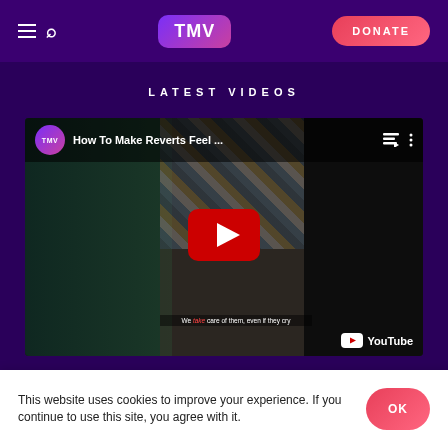TMV | DONATE
LATEST VIDEOS
[Figure (screenshot): YouTube embedded video player showing 'How To Make Reverts Feel ...' with TMV logo, red play button, subtitle text 'We take care of them, even if they cry', and YouTube logo in bottom right]
This website uses cookies to improve your experience. If you continue to use this site, you agree with it.